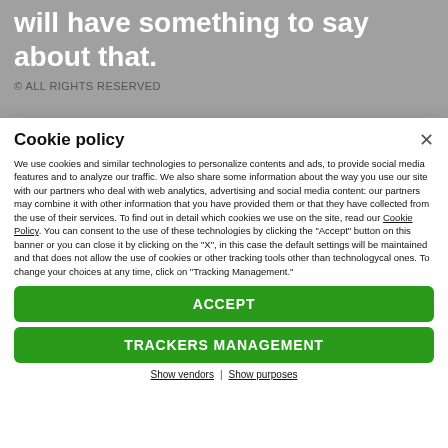will have something to say about that.
© ALL RIGHTS RESERVED
Cookie policy
We use cookies and similar technologies to personalize contents and ads, to provide social media features and to analyze our traffic. We also share some information about the way you use our site with our partners who deal with web analytics, advertising and social media content: our partners may combine it with other information that you have provided them or that they have collected from the use of their services. To find out in detail which cookies we use on the site, read our Cookie Policy. You can consent to the use of these technologies by clicking the "Accept" button on this banner or you can close it by clicking on the "X", in this case the default settings will be maintained and that does not allow the use of cookies or other tracking tools other than technologycal ones. To change your choices at any time, click on "Tracking Management."
ACCEPT
TRACKERS MANAGEMENT
Show vendors | Show purposes